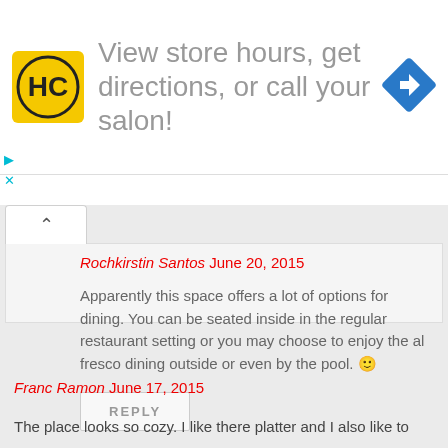[Figure (illustration): Advertisement banner for a hair care salon with HC logo, text 'View store hours, get directions, or call your salon!', and a blue navigation icon]
Rochkirstin Santos June 20, 2015
Apparently this space offers a lot of options for dining. You can be seated inside in the regular restaurant setting or you may choose to enjoy the al fresco dining outside or even by the pool. 🙂
REPLY
Franc Ramon June 17, 2015
The place looks so cozy. I like there platter and I also like to